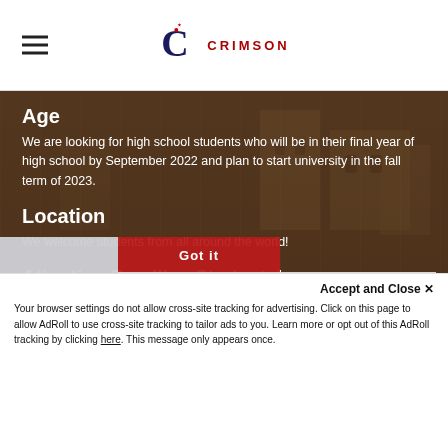Crimson Education logo and hamburger menu
Age
We are looking for high school students who will be in their final year of high school by September 2022 and plan to start university in the fall term of 2023.
Location
We welcome students from all around the world!
Attention Brazilian Students!
Br... sc...
Ap...
This website uses cookies to ensure you get the best experience on our website. Learn more
Got it
Accept and Close ×
Your browser settings do not allow cross-site tracking for advertising. Click on this page to allow AdRoll to use cross-site tracking to tailor ads to you. Learn more or opt out of this AdRoll tracking by clicking here. This message only appears once.